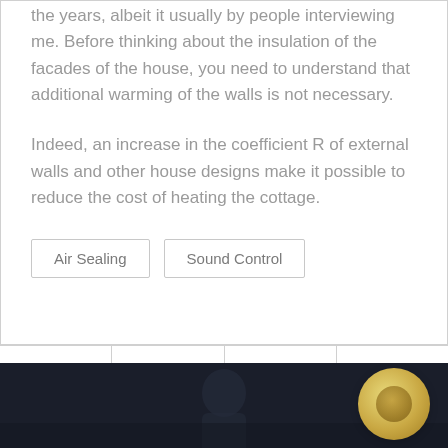the years, albeit it usually by people interviewing me. Before thinking about the insulation of the facades of the house, you need to understand that additional warming of the walls is not necessary.
Indeed, an increase in the coefficient R of external walls and other house designs make it possible to reduce the cost of heating the cottage.
Air Sealing
Sound Control
[Figure (photo): Dark image at the bottom of the page, appears to show a silhouette or dark scene. A gold/yellow circle element is partially visible in the bottom right corner.]